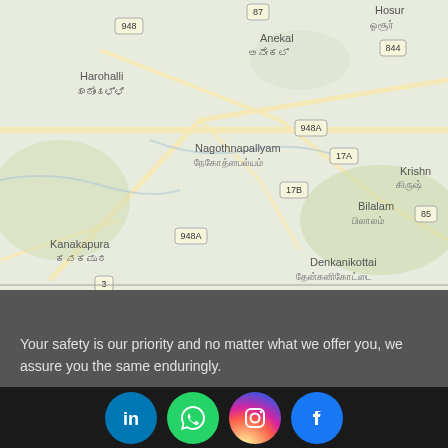[Figure (map): Google Maps view showing region around Bangalore south, including localities: Harohalli (ಹಾರೋಹಳ್ಳಿ), Anekal (ಅನೇಕಲ್), Hosur (ஓசூர்), Nagothnapallyam (நேகோத்னபல்யம்), Kanakapura (ಕನಕಪುರ), Denkanikottai (தேன்கனிகோட்டை), Bilalam (பிலாலம்), Krishn[agiri], with road numbers 87, 844, 948, 948A, 17A, 17B, 85, 3]
Your safety is our priority and no matter what we offer you, we assure you the same enduringly.
[Figure (infographic): Social media icons row: LinkedIn (blue circle with 'in'), WhatsApp (green circle with phone handset), Instagram (gradient circle with camera), Facebook (blue circle with 'f')]